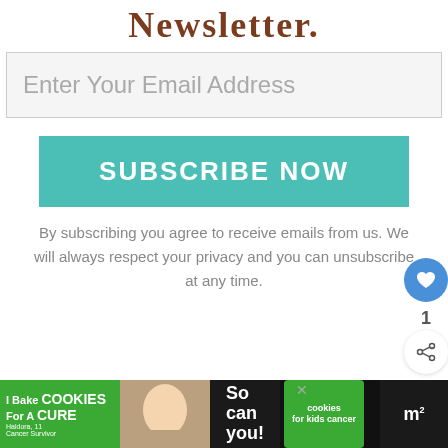Newsletter.
Enter Your Email Address
SUBSCRIBE NOW
By subscribing you agree to receive emails from us. We will always respect your privacy and you can unsubscribe at any time.
[Figure (infographic): What's Next box with RV Storage in Alaska article thumbnail and social icons on brown footer]
[Figure (photo): Ad banner: I Bake Cookies For A Cure - Haldora, 11 Cancer Survivor - cookies for kids cancer]